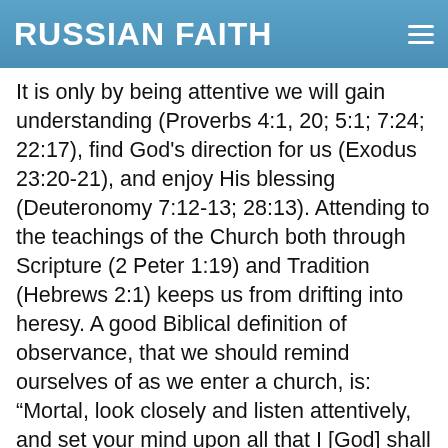RUSSIAN FAITH
It is only by being attentive we will gain understanding (Proverbs 4:1, 20; 5:1; 7:24; 22:17), find God's direction for us (Exodus 23:20-21), and enjoy His blessing (Deuteronomy 7:12-13; 28:13). Attending to the teachings of the Church both through Scripture (2 Peter 1:19) and Tradition (Hebrews 2:1) keeps us from drifting into heresy. A good Biblical definition of observance, that we should remind ourselves of as we enter a church, is: “Mortal, look closely and listen attentively, and set your mind upon all that I [God] shall show you, for you were brought here in order that I might show it to you” (Ezekiel 40:4; see also Isaiah 28:23; 34:1).